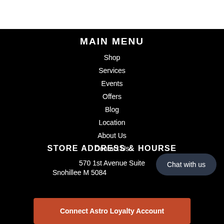MAIN MENU
Shop
Services
Events
Offers
Blog
Location
About Us
Contact Us
STORE ADDRESS & HOURSE
570 1st Avenue Suite
Snohillee M 5084
Chat with us
Connect Astro Loyalty Account